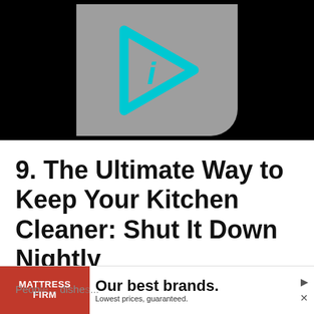[Figure (logo): Video thumbnail with gray background and cyan/turquoise play button icon with an 'i' symbol inside, on a black banner background]
9. The Ultimate Way to Keep Your Kitchen Cleaner: Shut It Down Nightly
People... dishes...
[Figure (infographic): Mattress Firm advertisement banner with red logo box on left reading 'MATTRESS FIRM', text 'Our best brands. Lowest prices, guaranteed.' on white background]